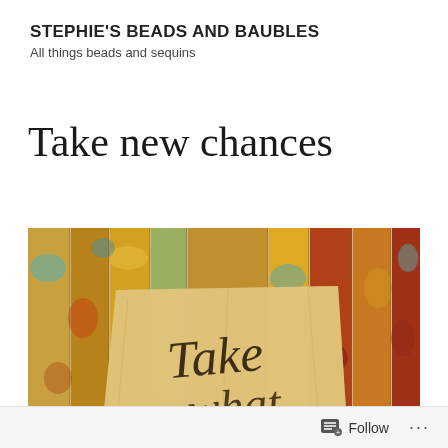STEPHIE'S BEADS AND BAUBLES
All things beads and sequins
Take new chances
[Figure (photo): A crumpled paper note with cursive handwriting 'Take' visible, placed against a backdrop of colorful painted wooden planks in shades of yellow, orange, teal, and red.]
Follow ...